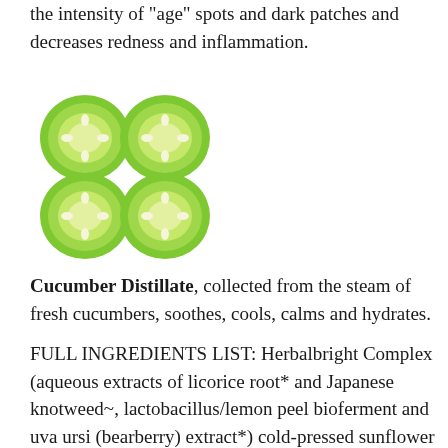the intensity of "age" spots and dark patches and decreases redness and inflammation.
[Figure (photo): Four cucumber slices arranged in a 2x2 grid, showing green exterior and white interior with seeds, illustrated style]
Cucumber Distillate, collected from the steam of fresh cucumbers, soothes, cools, calms and hydrates.
FULL INGREDIENTS LIST: Herbalbright Complex (aqueous extracts of licorice root* and Japanese knotweed~, lactobacillus/lemon peel bioferment and uva ursi (bearberry) extract*) cold-pressed sunflower oil*, jojoba beads*, vegetable emulsifying wax (non-GMO corn/ soy), stearic acid (non-GMO plant wax), cucumber hydrosol, meadowfoam seed oil*, vitamin E